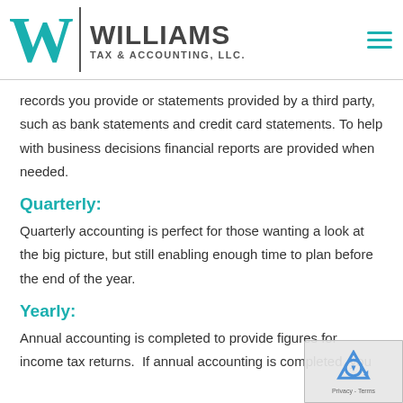[Figure (logo): Williams Tax & Accounting, LLC. logo with teal W letter, vertical divider, and company name]
records you provide or statements provided by a third party, such as bank statements and credit card statements. To help with business decisions financial reports are provided when needed.
Quarterly:
Quarterly accounting is perfect for those wanting a look at the big picture, but still enabling enough time to plan before the end of the year.
Yearly:
Annual accounting is completed to provide figures for income tax returns.  If annual accounting is completed, you